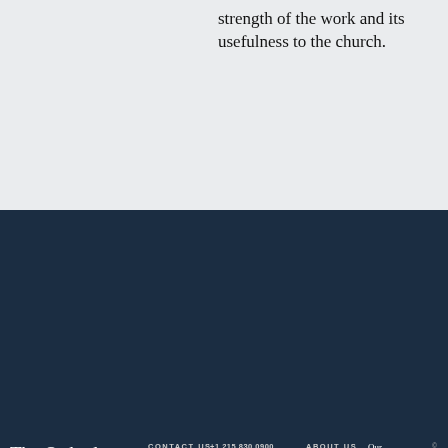strength of the work and its usefulness to the church.
The Orthodox Presbyterian Church   CONTACT US   +1 215 830 0900   ABOUT US   Our History   Our Standards   General Assembly   Worldwide Outreach   © 2022 Orthodox Presbyterian Church